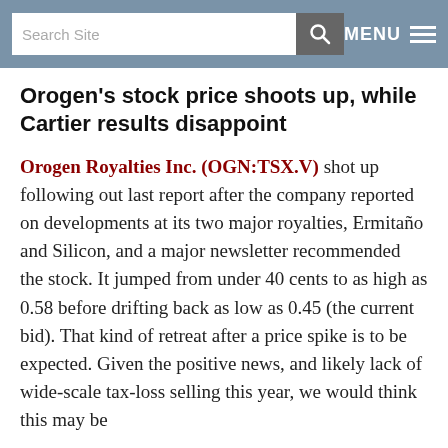Search Site  MENU
Orogen’s stock price shoots up, while Cartier results disappoint
Orogen Royalties Inc. (OGN:TSX.V) shot up following out last report after the company reported on developments at its two major royalties, Ermitaño and Silicon, and a major newsletter recommended the stock. It jumped from under 40 cents to as high as 0.58 before drifting back as low as 0.45 (the current bid). That kind of retreat after a price spike is to be expected. Given the positive news, and likely lack of wide-scale tax-loss selling this year, we would think this may be